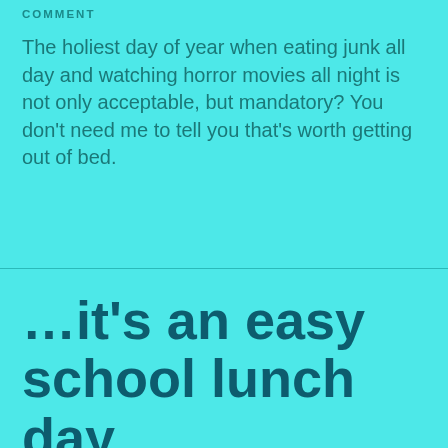COMMENT
The holiest day of year when eating junk all day and watching horror movies all night is not only acceptable, but mandatory? You don't need me to tell you that's worth getting out of bed.
...it's an easy school lunch day.
OCTOBER 22, 2021 | JOSIAH CHAPRELL | SHARED POST